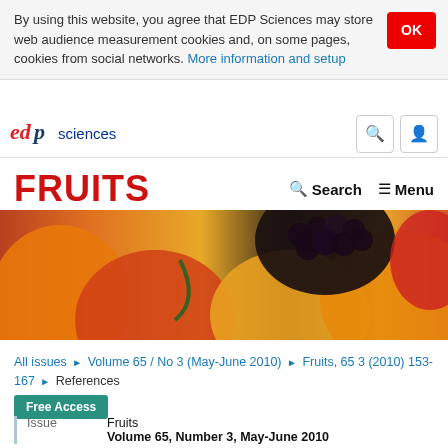By using this website, you agree that EDP Sciences may store web audience measurement cookies and, on some pages, cookies from social networks. More information and setup
edp sciences
FRUITS
[Figure (photo): Close-up photo of assorted tropical fruits including mangoes, blackberries, and other fruits]
All issues ▶ Volume 65 / No 3 (May-June 2010) ▶ Fruits, 65 3 (2010) 153-167 ▶ References
Free Access
| Issue |  |
| --- | --- |
| Issue | Fruits Volume 65, Number 3, May-June 2010 |